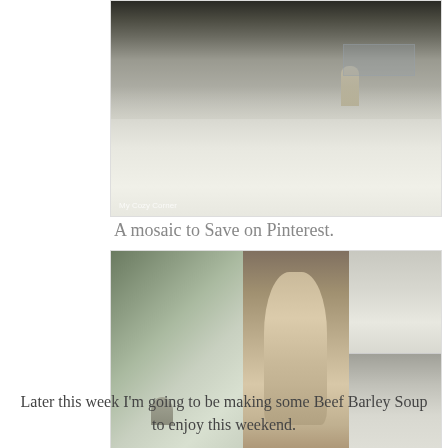[Figure (photo): Black and white winter garden scene covered in snow, with a statue, bench, and frosted trees and shrubs. Watermark reads 'My Cozy Corner'.]
A mosaic to Save on Pinterest.
[Figure (photo): A mosaic of three winter garden photos: left shows snow-covered shrubs and a garden ornament, center shows a stone angel statue covered in snow, right shows two stacked winter landscape images with trees and a building.]
Later this week I'm going to be making some Beef Barley Soup to enjoy this weekend.